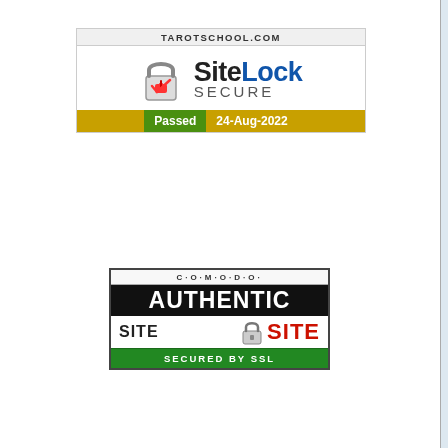[Figure (logo): SiteLock SECURE badge — TAROTSCHOOL.COM header, padlock icon, SiteLock SECURE text, green Passed bar with date 24-Aug-2022]
[Figure (logo): Comodo Authentic Site Secured by SSL badge — C.O.M.O.D.O. header, AUTHENTIC in white on black, SITE in red, padlock icon, SECURED BY SSL green bar]
[Figure (illustration): Partial tarot card image visible at top right, light blue background with partial golden goblet/cup illustration]
★ Get the Temperance
More Birth Card Notes:
Wheel of Fortune / Magician  Justice  Emperor  Devil / Lovers  Tower / Ch...  Magician  Judgement / High Priestess
Top
Written material by Wald and... Birth Card...